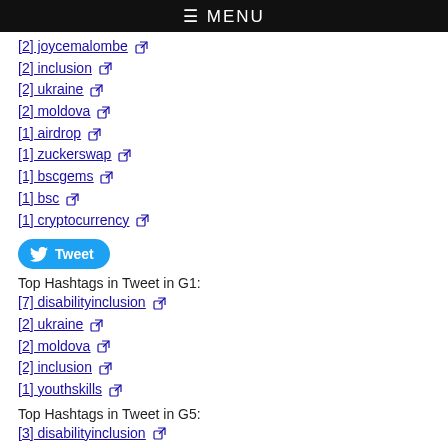≡ MENU
[2] joycemalombe
[2] inclusion
[2] ukraine
[2] moldova
[1] airdrop
[1] zuckerswap
[1] bscgems
[1] bsc
[1] cryptocurrency
[Figure (other): Tweet button]
Top Hashtags in Tweet in G1:
[7] disabilityinclusion
[2] ukraine
[2] moldova
[2] inclusion
[1] youthskills
Top Hashtags in Tweet in G5:
[3] disabilityinclusion
[2] joycemalombe
Top Hashtags in Tweet in G7:
[1] airdrop